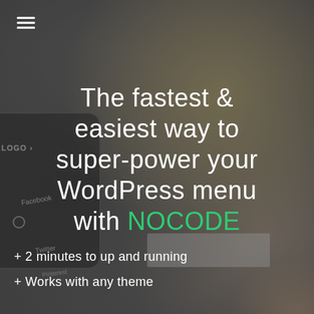[Figure (photo): Blurred background photo of a smartphone screen showing a WordPress menu with items including Facebook and Twitter, with a logo placeholder visible. Dark grey blurred bokeh background.]
The fastest & easiest way to super-power your WordPress menu with NOCODE
+ 2 minutes to up and running
+ Works with any theme